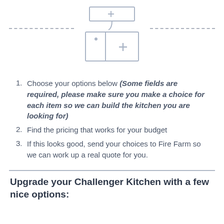[Figure (illustration): Kitchen sink icon with overhead cabinet panel shown in gray outline, flanked by dashed horizontal lines on left and right]
Choose your options below (Some fields are required, please make sure you make a choice for each item so we can build the kitchen you are looking for)
Find the pricing that works for your budget
If this looks good, send your choices to Fire Farm so we can work up a real quote for you.
Upgrade your Challenger Kitchen with a few nice options: